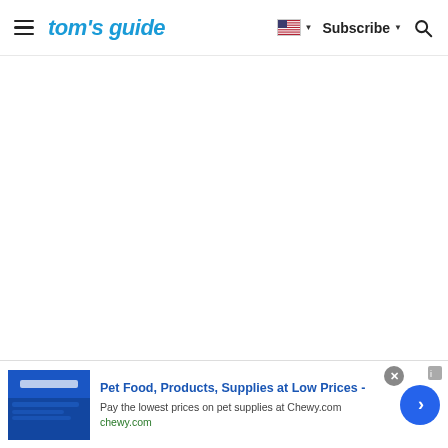tom's guide — Subscribe — Search
[Figure (screenshot): Tom's Guide website header with hamburger menu, logo, flag/country selector, Subscribe button, and search icon. Main content area is blank/white.]
[Figure (infographic): Advertisement banner for Chewy.com: Pet Food, Products, Supplies at Low Prices. Pay the lowest prices on pet supplies at Chewy.com. chewy.com. Blue product image on left, text in center, arrow button on right, close button top right.]